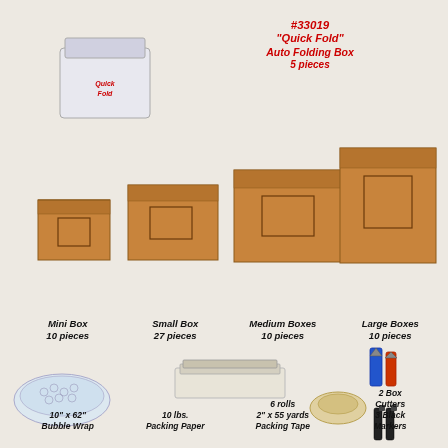[Figure (photo): Moving kit product photo showing: top-left a white QuickFold self-folding box, four cardboard moving boxes of increasing size (mini, small, medium, large) in the center, a roll of bubble wrap bottom-left, packing paper stack center-bottom, a roll of packing tape, box cutters top-right area, and black markers bottom-right.]
#33019 "Quick Fold" Auto Folding Box 5 pieces
Mini Box 10 pieces
Small Box 27 pieces
Medium Boxes 10 pieces
Large Boxes 10 pieces
10" x 62" Bubble Wrap
10 lbs. Packing Paper
6 rolls 2" x 55 yards Packing Tape
2 Box Cutters
3 Black Markers